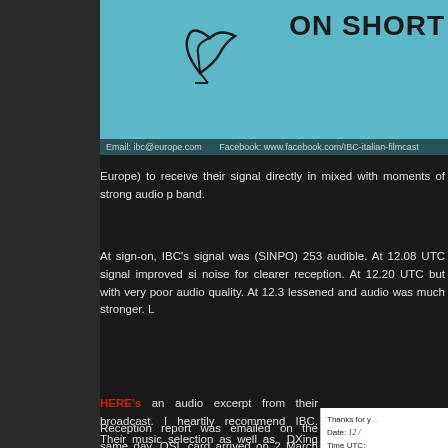[Figure (illustration): IBC (Italian Broadcast) banner image with teal/cyan background, bird logo, 'ON SHORT' text in bold black, and a black footer bar with email and Facebook links]
Europe) to receive their signal directly in mixed with moments of strong audio p band.
At sign-on, IBC's signal was (SINPO) 253 audible. At 12.08 UTC signal improved si noise for clearer reception. At 12.20 UTC but with very poor audio quality. At 12.3 lessened and audio was much stronger. L
HERE's an audio excerpt from their broadcast. I heartily recommend IBC. Their music selection as well as DXing news makes for enjoyable listening.
[Figure (photo): Partial view of a QSL card showing handwritten date 12/M, fields for Time UTC, Frequency, Best 73s, and ITALIAN BRO text]
Reception report was emailed on the same day. QSL card arrived on 2 March 2016 and